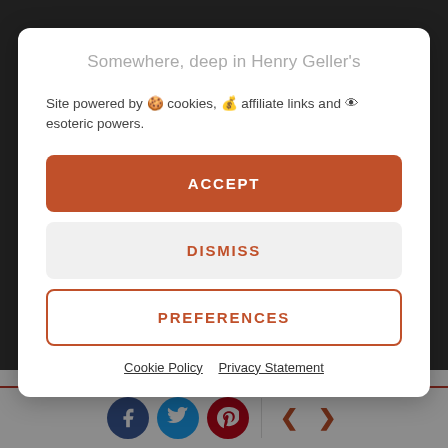Somewhere, deep in Henry Geller's
Site powered by 🍪 cookies, 💰 affiliate links and 👁 esoteric powers.
ACCEPT
DISMISS
PREFERENCES
Cookie Policy  Privacy Statement
victory in the grand scheme of things but that doesn't make it any less important.
[Figure (screenshot): Social sharing bar with Facebook, Twitter, Pinterest icons and left/right navigation arrows]